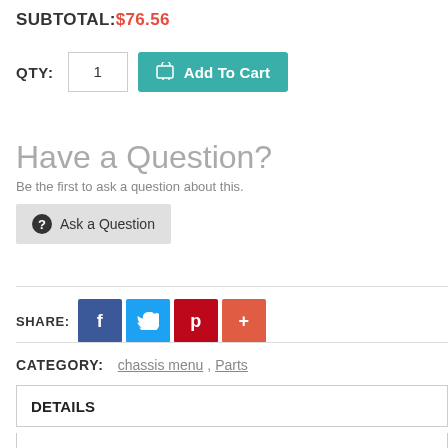SUBTOTAL: $76.56
QTY: 1  Add To Cart
Have a Question?
Be the first to ask a question about this.
Ask a Question
SHARE:
CATEGORY: chassis menu , Parts
DETAILS
SHIPPING & RETURNS